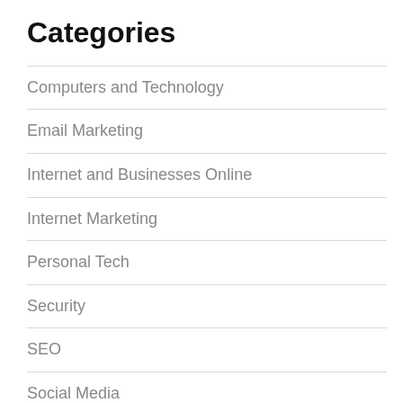Categories
Computers and Technology
Email Marketing
Internet and Businesses Online
Internet Marketing
Personal Tech
Security
SEO
Social Media
Social Networking
Software